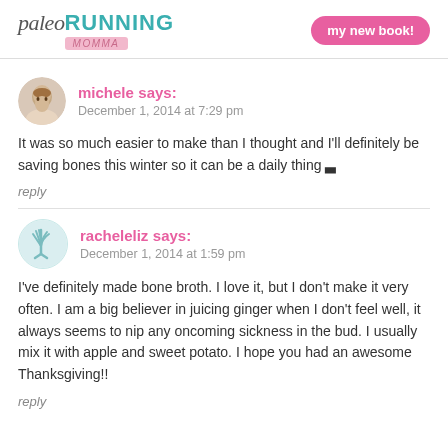paleo RUNNING MOMMA | my new book!
michele says:
December 1, 2014 at 7:29 pm
It was so much easier to make than I thought and I'll definitely be saving bones this winter so it can be a daily thing 🙂
reply
racheleliz says:
December 1, 2014 at 1:59 pm
I've definitely made bone broth. I love it, but I don't make it very often. I am a big believer in juicing ginger when I don't feel well, it always seems to nip any oncoming sickness in the bud. I usually mix it with apple and sweet potato. I hope you had an awesome Thanksgiving!!
reply